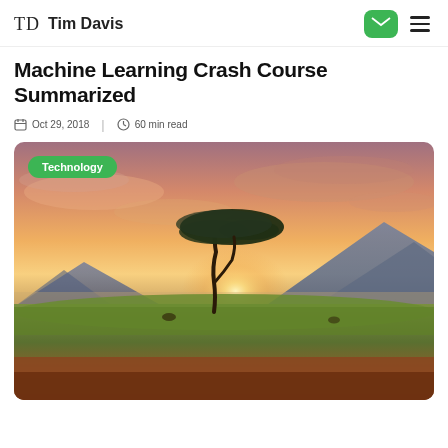TD  Tim Davis
Machine Learning Crash Course Summarized
Oct 29, 2018  |  60 min read
[Figure (photo): A lone acacia tree on an African savanna at sunset, with warm orange and pink sky, mountains in the background, green grass in the middle ground, and red-brown dry earth in the foreground. A green 'Technology' tag badge overlays the top-left corner of the image.]